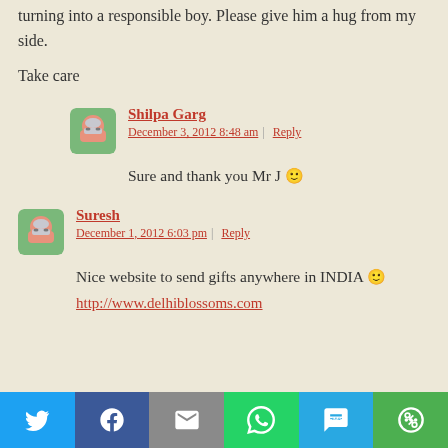turning into a responsible boy. Please give him a hug from my side.
Take care
Shilpa Garg
December 3, 2012 8:48 am | Reply
Sure and thank you Mr J 🙂
Suresh
December 1, 2012 6:03 pm | Reply
Nice website to send gifts anywhere in INDIA 🙂
http://www.delhiblossoms.com
[Figure (infographic): Social sharing footer bar with icons: Twitter (blue), Facebook (dark blue), Email (grey), WhatsApp (green), SMS (light blue), More/share (green)]